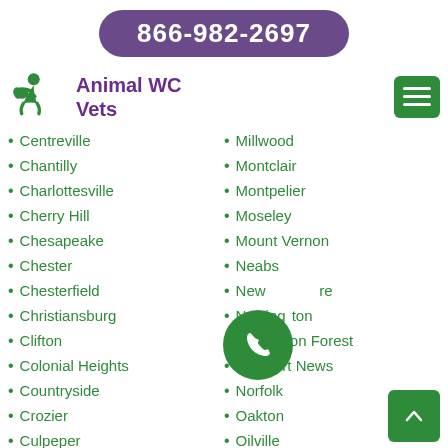866-982-2697
Animal WC Vets
Centreville
Millwood
Chantilly
Montclair
Charlottesville
Montpelier
Cherry Hill
Moseley
Chesapeake
Mount Vernon
Chester
Neabsco
Chesterfield
New Baltimore
Christiansburg
Newington
Clifton
Newington Forest
Colonial Heights
Newport News
Countryside
Norfolk
Crozier
Oakton
Culpeper
Oilville